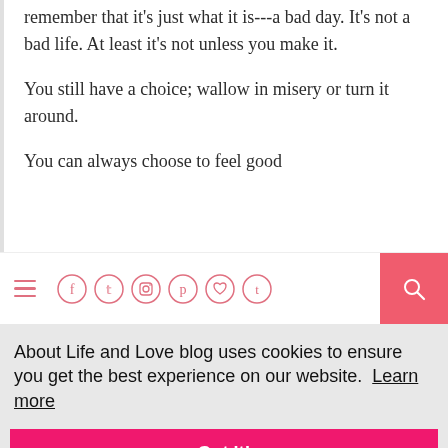remember that it's just what it is---a bad day. It's not a bad life. At least it's not unless you make it.

You still have a choice; wallow in misery or turn it around.

You can always choose to feel good
[Figure (screenshot): Navigation bar with hamburger menu icon on the left, social media icons (Facebook, Twitter, Instagram, Pinterest, heart/Bloglovin, Tumblr) in the center outlined in pink, and a pink search button on the right]
About Life and Love blog uses cookies to ensure you get the best experience on our website.  Learn more
Got it!